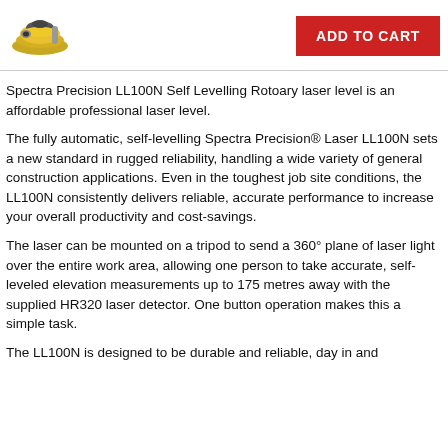[Figure (photo): Product image of Spectra Precision LL100N rotary laser level, yellow and black device]
ADD TO CART
Spectra Precision LL100N Self Levelling Rotoary laser level is an affordable professional laser level.
The fully automatic, self-levelling Spectra Precision® Laser LL100N sets a new standard in rugged reliability, handling a wide variety of general construction applications. Even in the toughest job site conditions, the LL100N consistently delivers reliable, accurate performance to increase your overall productivity and cost-savings.
The laser can be mounted on a tripod to send a 360° plane of laser light over the entire work area, allowing one person to take accurate, self-leveled elevation measurements up to 175 metres away with the supplied HR320 laser detector. One button operation makes this a simple task.
The LL100N is designed to be durable and reliable, day in and